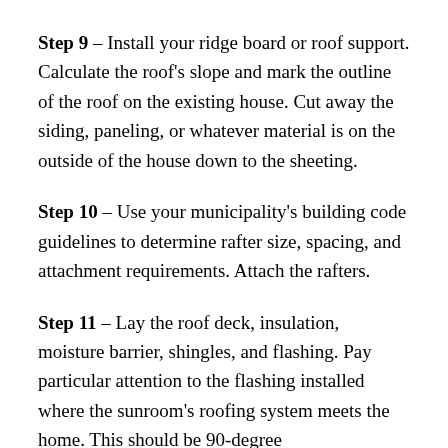Step 9 – Install your ridge board or roof support. Calculate the roof's slope and mark the outline of the roof on the existing house. Cut away the siding, paneling, or whatever material is on the outside of the house down to the sheeting.
Step 10 – Use your municipality's building code guidelines to determine rafter size, spacing, and attachment requirements. Attach the rafters.
Step 11 – Lay the roof deck, insulation, moisture barrier, shingles, and flashing. Pay particular attention to the flashing installed where the sunroom's roofing system meets the home. This should be 90-degree